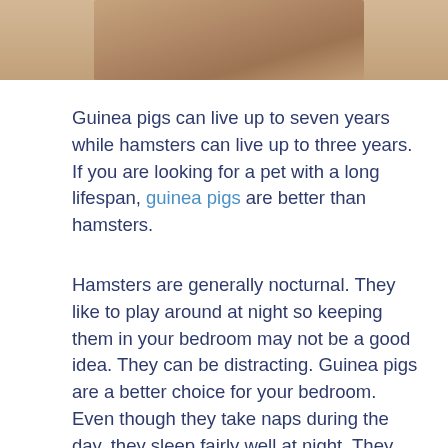[Figure (photo): Partial photo of an animal (likely a guinea pig or hamster), showing a brown/tan fur close-up, cropped at the top of the page.]
Guinea pigs can live up to seven years while hamsters can live up to three years. If you are looking for a pet with a long lifespan, guinea pigs are better than hamsters.
Hamsters are generally nocturnal. They like to play around at night so keeping them in your bedroom may not be a good idea. They can be distracting. Guinea pigs are a better choice for your bedroom. Even though they take naps during the day, they sleep fairly well at night. They live longer when surrounded by other animals.